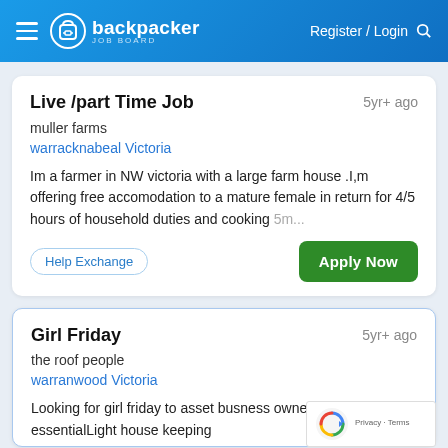backpacker JOB BOARD — Register / Login
Live /part Time Job
muller farms
warracknabeal Victoria
Im a farmer in NW victoria with a large farm house .I,m offering free accomodation to a mature female in return for 4/5 hours of household duties and cooking 5m...
Help Exchange
Apply Now
Girl Friday
the roof people
warranwood Victoria
Looking for girl friday to asset busness owner driv licence essentialLight house keeping ation Accomodation and a paid job I5h...